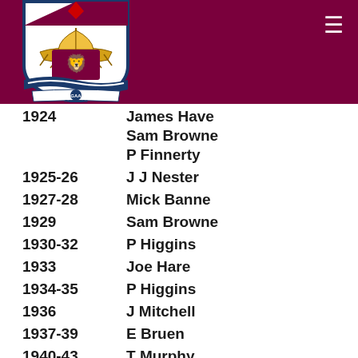[Figure (logo): Galway GAA crest logo with ship, lion, and 'GAA Gaillimh' text on maroon header bar]
1924   James Have...
Sam Browne...
P Finnerty
1925-26   J J Nester
1927-28   Mick Banne...
1929   Sam Browne...
1930-32   P Higgins
1933   Joe Hare
1934-35   P Higgins
1936   J Mitchell
1937-39   E Bruen
1940-43   T Murphy
1944-69   Paddy Naug...